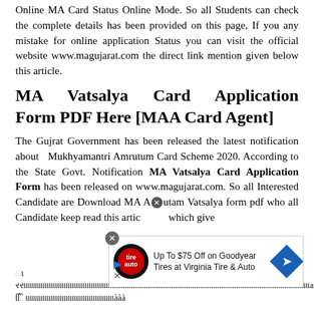Online MA Card Status Online Mode. So all Students can check the complete details has been provided on this page, If you any mistake for online application Status you can visit the official website www.magujarat.com the direct link mention given below this article.
MA Vatsalya Card Application Form PDF Here [MAA Card Agent]
The Gujrat Government has been released the latest notification about Mukhyamantri Amrutum Card Scheme 2020. According to the State Govt. Notification MA Vatsalya Card Application Form has been released on www.magujarat.com. So all Interested Candidate are Download MA Amrutam Vatsalya form pdf who all Candidate keep read this article which given
[Figure (infographic): Advertisement banner for Goodyear Tires at Virginia Tire & Auto: Up To $75 Off on Goodyear Tires at Virginia Tire & Auto]
Gujarati script text (partially visible at bottom of page)